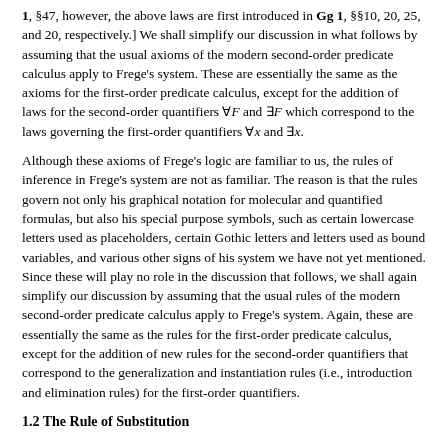1, §47, however, the above laws are first introduced in Gg 1, §§10, 20, 25, and 20, respectively.] We shall simplify our discussion in what follows by assuming that the usual axioms of the modern second-order predicate calculus apply to Frege's system. These are essentially the same as the axioms for the first-order predicate calculus, except for the addition of laws for the second-order quantifiers ∀F and ∃F which correspond to the laws governing the first-order quantifiers ∀x and ∃x.
Although these axioms of Frege's logic are familiar to us, the rules of inference in Frege's system are not as familiar. The reason is that the rules govern not only his graphical notation for molecular and quantified formulas, but also his special purpose symbols, such as certain lowercase letters used as placeholders, certain Gothic letters and letters used as bound variables, and various other signs of his system we have not yet mentioned. Since these will play no role in the discussion that follows, we shall again simplify our discussion by assuming that the usual rules of the modern second-order predicate calculus apply to Frege's system. Again, these are essentially the same as the rules for the first-order predicate calculus, except for the addition of new rules for the second-order quantifiers that correspond to the generalization and instantiation rules (i.e., introduction and elimination rules) for the first-order quantifiers.
1.2 The Rule of Substitution